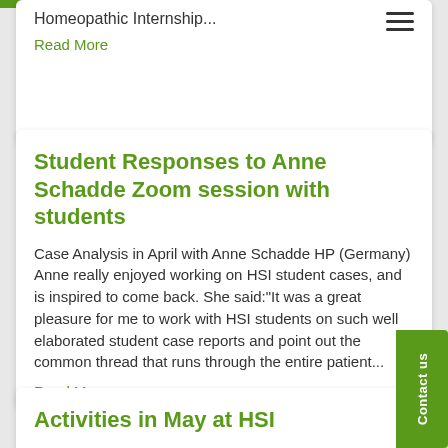Homeopathic Internship...
Read More
Student Responses to Anne Schadde Zoom session with students
Case Analysis in April with Anne Schadde HP (Germany) Anne really enjoyed working on HSI student cases, and is inspired to come back. She said:"It was a great pleasure for me to work with HSI students on such well elaborated student case reports and point out the common thread that runs through the entire patient...
Read More
Activities in May at HSI
Help the Children Free Webinar – Taking the Child's Case The webinar with Jody Shevins, CCH, DHANP has been met with